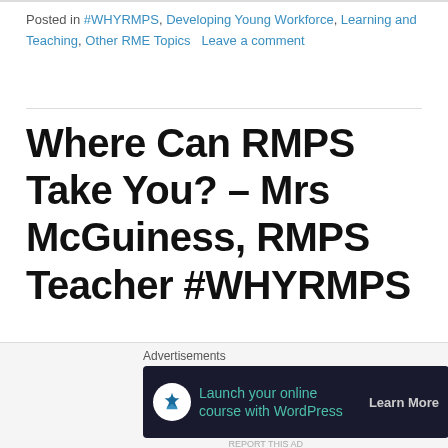Posted in #WHYRMPS, Developing Young Workforce, Learning and Teaching, Other RME Topics   Leave a comment
Where Can RMPS Take You? – Mrs McGuiness, RMPS Teacher #WHYRMPS
[Figure (photo): Partial view of a photo strip at the bottom, showing a blue and dark background scene]
Advertisements
[Figure (screenshot): Advertisement banner: 'Launch your online course with WordPress' with a Learn More button on dark background]